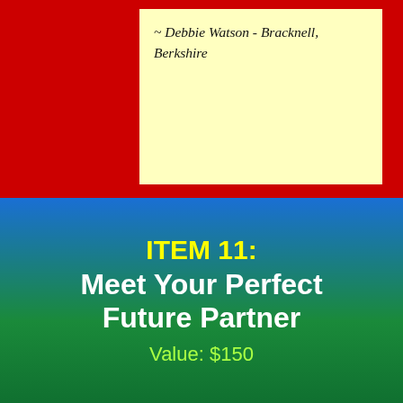~ Debbie Watson - Bracknell, Berkshire
ITEM 11:
Meet Your Perfect Future Partner
Value: $150